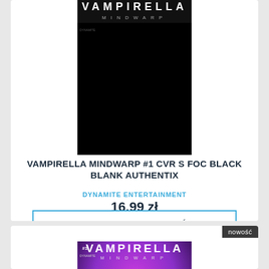[Figure (photo): Vampirella Mindwarp #1 comic book cover — black background with Vampirella logo and Mindwarp text at top]
VAMPIRELLA MINDWARP #1 CVR S FOC BLACK BLANK AUTHENTIX
DYNAMITE ENTERTAINMENT
16,99 zł
POWIADOM O DOSTĘPNOŚCI
nowość
[Figure (photo): Vampirella Mindwarp #1 comic book cover — colored version showing Vampirella character with purple/magenta background]